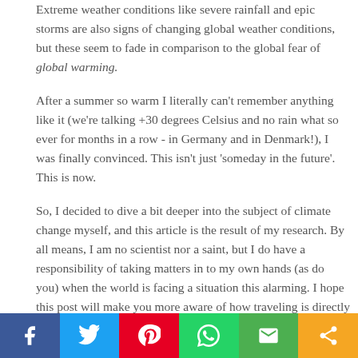Extreme weather conditions like severe rainfall and epic storms are also signs of changing global weather conditions, but these seem to fade in comparison to the global fear of global warming. After a summer so warm I literally can't remember anything like it (we're talking +30 degrees Celsius and no rain what so ever for months in a row - in Germany and in Denmark!), I was finally convinced. This isn't just 'someday in the future'. This is now. So, I decided to dive a bit deeper into the subject of climate change myself, and this article is the result of my research. By all means, I am no scientist nor a saint, but I do have a responsibility of taking matters in to my own hands (as do you) when the world is facing a situation this alarming. I hope this post will make you more aware of how traveling is directly linked to climate change - and perhaps even inspire you to become a more conscious traveler. Cause let's face it; tourism won't stop expanding.
Social share bar: Facebook, Twitter, Pinterest, WhatsApp, Email, Share